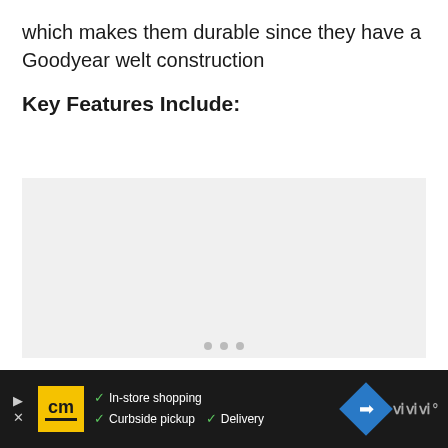which makes them durable since they have a Goodyear welt construction
Key Features Include:
[Figure (other): Light gray image placeholder with three dots carousel indicator below]
In-store shopping  Curbside pickup  Delivery [cm logo advertisement bar]